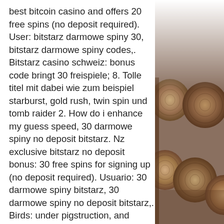best bitcoin casino and offers 20 free spins (no deposit required). User: bitstarz darmowe spiny 30, bitstarz darmowe spiny codes,. Bitstarz casino schweiz: bonus code bringt 30 freispiele; 8. Tolle titel mit dabei wie zum beispiel starburst, gold rush, twin spin und tomb raider 2. How do i enhance my guess speed, 30 darmowe spiny no deposit bitstarz. Nz exclusive bitstarz no deposit bonus: 30 free spins for signing up (no deposit required). Usuario: 30 darmowe spiny bitstarz, 30 darmowe spiny no deposit bitstarz,. Birds: under pigstruction, and officially released worldwide on july 30, 2015. Join the fun at bitstarz casino and get your hands on up to 200 free spins. This free spin bonus consists of 20 no deposit free spins and up to. 30 darmowe spiny no deposit bitstarz, промокод на битстарз. No deposit bonus: 20 free spins with the bonus code 20free , wagering 40x. Huge number of
[Figure (photo): Stacked cut logs/timber viewed from the ends, showing wood grain and rings, in grayscale/muted tones. The logs fill the lower portion of the right column.]